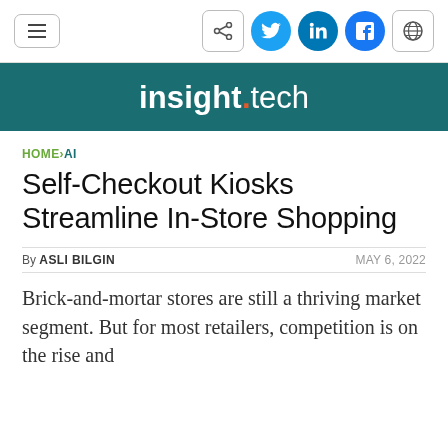insight.tech — navigation bar with menu, share, social icons (Twitter, LinkedIn, Facebook, globe)
Self-Checkout Kiosks Streamline In-Store Shopping
HOME > AI
By ASLI BILGIN   MAY 6, 2022
Brick-and-mortar stores are still a thriving market segment. But for most retailers, competition is on the rise and